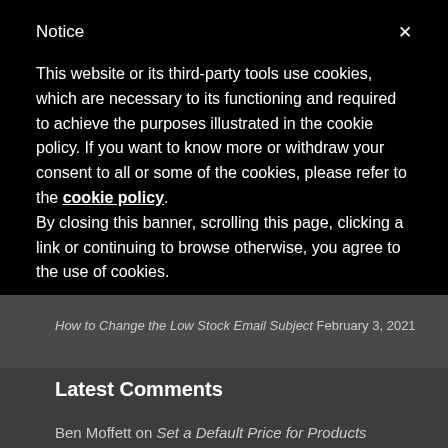Notice
This website or its third-party tools use cookies, which are necessary to its functioning and required to achieve the purposes illustrated in the cookie policy. If you want to know more or withdraw your consent to all or some of the cookies, please refer to the cookie policy.
By closing this banner, scrolling this page, clicking a link or continuing to browse otherwise, you agree to the use of cookies.
How to Change the Low Stock Email Subject  February 3, 2021
Latest Comments
Ben Moffett on Set a Default Price for Products